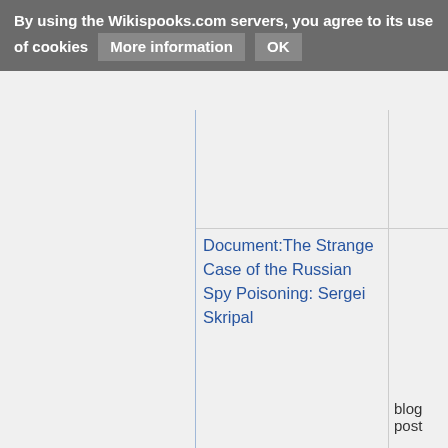By using the Wikispooks.com servers, you agree to its use of cookies   More information   OK
Document:The Strange Case of the Russian Spy Poisoning: Sergei Skripal
blog post